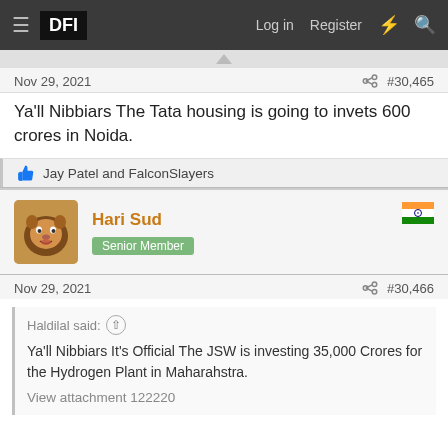≡ DFI   Log in   Register
Nov 29, 2021   #30,465
Ya'll Nibbiars The Tata housing is going to invets 600 crores in Noida.
👍 Jay Patel and FalconSlayers
Hari Sud  Senior Member
Nov 29, 2021   #30,466
Haldilal said: ↑
Ya'll Nibbiars It's Official The JSW is investing 35,000 Crores for the Hydrogen Plant in Maharahstra.
View attachment 122220